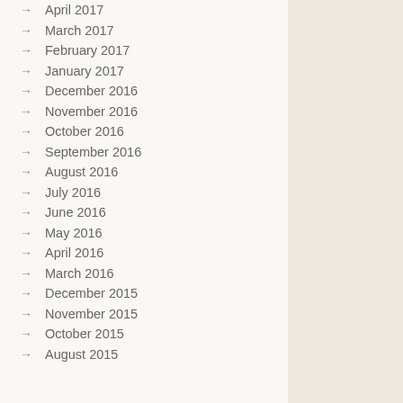April 2017
March 2017
February 2017
January 2017
December 2016
November 2016
October 2016
September 2016
August 2016
July 2016
June 2016
May 2016
April 2016
March 2016
December 2015
November 2015
October 2015
August 2015